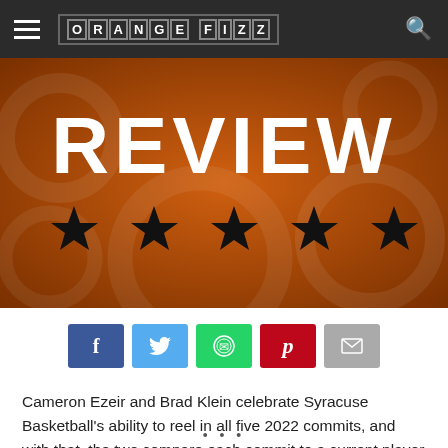ORANGE FIZZ
[Figure (illustration): Orange banner with large white 'REVIEW' text and five black stars below it]
[Figure (infographic): Social sharing buttons: Facebook (blue), Twitter (light blue), WhatsApp (green), Pinterest (red), Email (grey)]
Cameron Ezeir and Brad Klein celebrate Syracuse Basketball's ability to reel in all five 2022 commits, and with that, the two compare each commit to a current player on this year's roster.